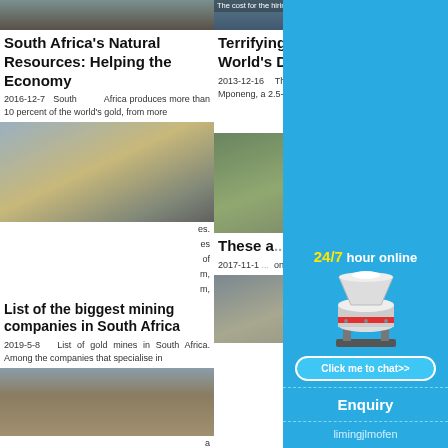[Figure (photo): Mining conveyor belt image thumbnail - top left]
South Africa's Natural Resources: Helping the Economy
2016-12-7   South Africa produces more than 10 percent of the world's gold, from more
[Figure (photo): Mining conveyor belt angled view]
es. es of m, m,
List of the biggest mining companies in South Africa
2019-5-8   List of gold mines in South Africa. Among the companies that specialise in
[Figure (photo): Open cast mine aerial view]
a 1. on: 2.
[Figure (photo): Top right article image]
Terrifying Facts About the World's Deepest Gold Mine
The cost for the hiring will be ZAR1000 per month
2013-12-16   The deepest gold mine in the world is Mponeng, a 2.5-mile hole in the ground in
ble ss
[Figure (photo): Quarry or mining landscape photo]
These a... Mining C... Work Fo...
2017-11-1... on more... Barrick G...
[Figure (photo): Bottom right mining photo]
[Figure (infographic): 24/7 hour online live chat ad widget with machine image, Click me to chat button, Enquiry section, limingjlmofen text]